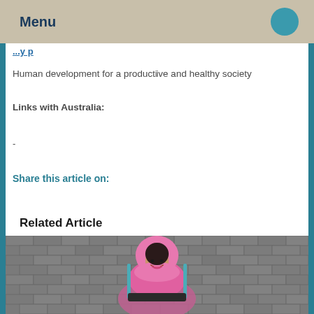Menu
Human development for a productive and healthy society
Links with Australia:
-
Share this article on:
Related Article
[Figure (photo): A woman wearing a pink hijab and pink long-sleeve top sits in a wheelchair, smiling. The background is a grey textured brick wall.]